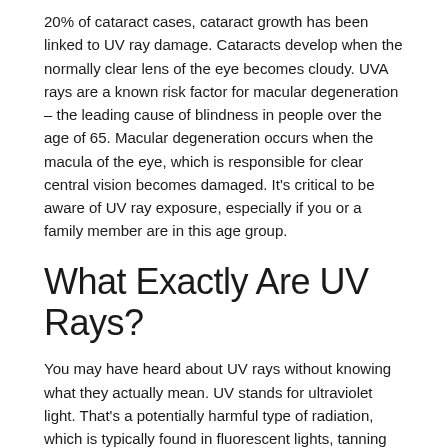20% of cataract cases, cataract growth has been linked to UV ray damage. Cataracts develop when the normally clear lens of the eye becomes cloudy. UVA rays are a known risk factor for macular degeneration – the leading cause of blindness in people over the age of 65. Macular degeneration occurs when the macula of the eye, which is responsible for clear central vision becomes damaged. It's critical to be aware of UV ray exposure, especially if you or a family member are in this age group.
What Exactly Are UV Rays?
You may have heard about UV rays without knowing what they actually mean. UV stands for ultraviolet light. That's a potentially harmful type of radiation, which is typically found in fluorescent lights, tanning booths. But its main source is from the sun, and it's invisible to the naked eye, so you don't even feel it as it touches your skin or body.
Why Are UV Rays Dangerous?